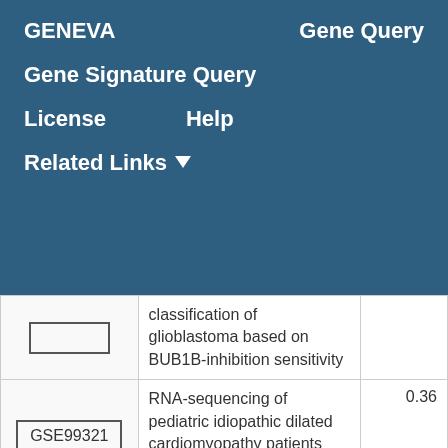GENEVA   Gene Query   Gene Signature Query   License   Help   Related Links
| ID | Description | Score |
| --- | --- | --- |
|  | classification of glioblastoma based on BUB1B-inhibition sensitivity |  |
| GSE99321 | RNA-sequencing of pediatric idiopathic dilated cardiomyopathy patients and healthy controls | 0.36 |